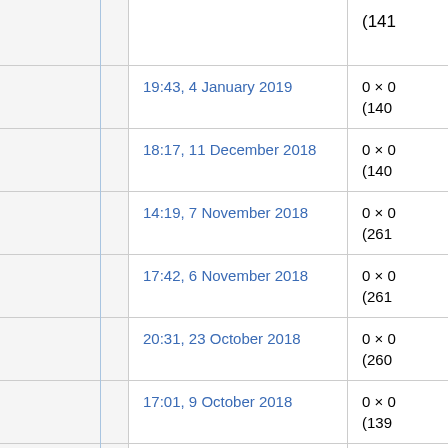|  | Date/Time | Dimensions |
| --- | --- | --- |
|  |  | (141... |
|  | 19:43, 4 January 2019 | 0 × 0
(140... |
|  | 18:17, 11 December 2018 | 0 × 0
(140... |
|  | 14:19, 7 November 2018 | 0 × 0
(261... |
|  | 17:42, 6 November 2018 | 0 × 0
(261... |
|  | 20:31, 23 October 2018 | 0 × 0
(260... |
|  | 17:01, 9 October 2018 | 0 × 0
(139... |
|  | 19:25, 2 October 2018 | 0 × 0
(260... |
|  | 15:46, 1 October 2018 | 0 × 0
(139... |
|  | ... | ... |